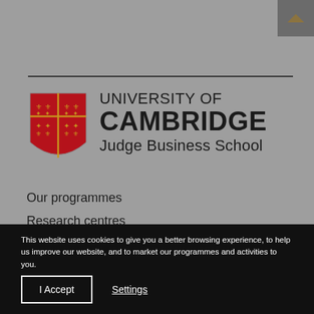[Figure (logo): University of Cambridge Judge Business School logo with shield crest and text]
Our programmes
Research centres
Faculty subject groups
News room
This website uses cookies to give you a better browsing experience, to help us improve our website, and to market our programmes and activities to you.
I Accept | Settings